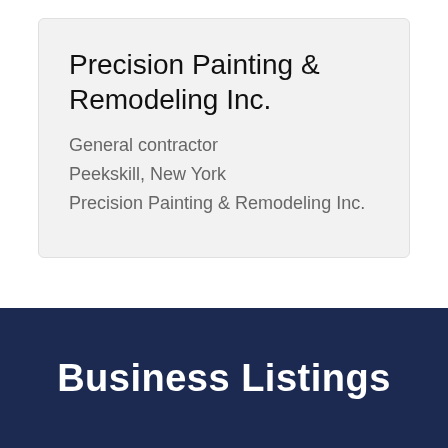Precision Painting & Remodeling Inc.
General contractor
Peekskill, New York
Precision Painting & Remodeling Inc.
Business Listings